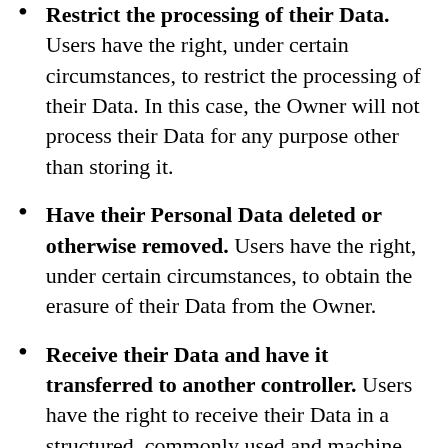Restrict the processing of their Data. Users have the right, under certain circumstances, to restrict the processing of their Data. In this case, the Owner will not process their Data for any purpose other than storing it.
Have their Personal Data deleted or otherwise removed. Users have the right, under certain circumstances, to obtain the erasure of their Data from the Owner.
Receive their Data and have it transferred to another controller. Users have the right to receive their Data in a structured, commonly used and machine readable format and, if technically feasible, to have it transmitted to another controller without any hindrance